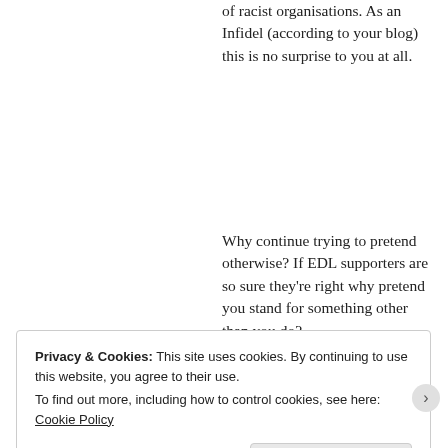of racist organisations. As an Infidel (according to your blog) this is no surprise to you at all.
Why continue trying to pretend otherwise? If EDL supporters are so sure they're right why pretend you stand for something other than you do?
★ Like
Privacy & Cookies: This site uses cookies. By continuing to use this website, you agree to their use.
To find out more, including how to control cookies, see here: Cookie Policy
Close and accept